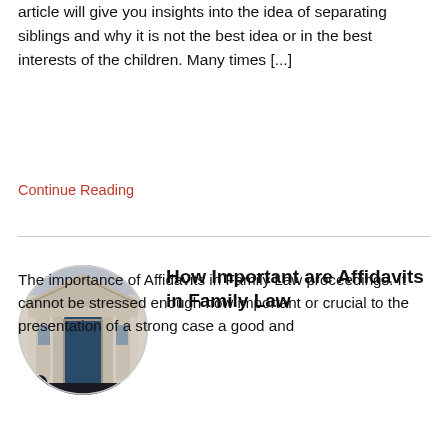article will give you insights into the idea of separating siblings and why it is not the best idea or in the best interests of the children. Many times [...]
Continue Reading
[Figure (photo): Circular photo of a classical courthouse or government building facade with columns and arched doorway]
How Important are Affidavits in Family Law
The importance of Affidavits in Family Law proceedings. It cannot be stressed enough how important or crucial to the presentation of a strong case a good and